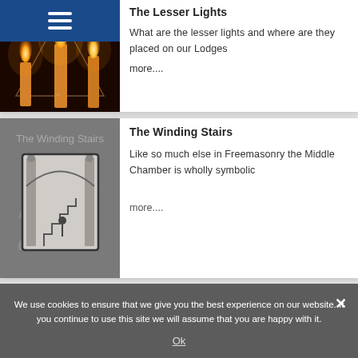[Figure (screenshot): Screenshot of a Masonic education website showing two article cards and a cookie consent overlay. The first card shows 'The Lesser Lights' with candle image and text about lesser lights in lodges. The second card shows 'The Winding Stairs' with a grayscale staircase image and text about Freemasonry Middle Chamber. A cookie consent banner overlays the bottom of the page.]
The Lesser Lights
What are the lesser lights and where are they placed on our Lodges
more....
The Winding Stairs
Like so much else in Freemasonry the Middle Chamber is wholly symbolic
more....
We use cookies to ensure that we give you the best experience on our website. If you continue to use this site we will assume that you are happy with it.
Ok